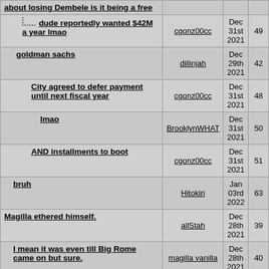| Thread | Author | Date | Replies |
| --- | --- | --- | --- |
| about losing Dembele is it being a free |  |  |  |
| dude reportedly wanted $42M a year lmao | cgonz00cc | Dec 31st 2021 | 49 |
| goldman sachs | dillinjah | Dec 29th 2021 | 42 |
| City agreed to defer payment until next fiscal year | cgonz00cc | Dec 31st 2021 | 48 |
| lmao | BrooklynWHAT | Dec 31st 2021 | 50 |
| AND installments to boot | cgonz00cc | Dec 31st 2021 | 51 |
| bruh | Hitokiri | Jan 03rd 2022 | 63 |
| Magilla ethered himself. | allStah | Dec 28th 2021 | 39 |
| I mean it was even till Big Rome came on but sure. | magilla vanilla | Dec 28th 2021 | 40 |
| We have turned into Southampton with all these damn draws | allStah | Dec 29th 2021 | 44 |
| shake the Man Utd 8-Ball, how will we play today? | BrooklynWHAT | Dec 30th 2021 | 45 |
| was nice to see a non Bruno/Rash lineup tbh. | PROMO | Dec 30th 2021 | 46 |